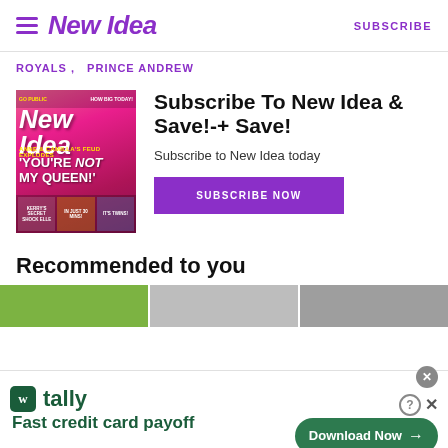New Idea | SUBSCRIBE
ROYALS , PRINCE ANDREW
[Figure (photo): New Idea magazine cover featuring Camilla with headline 'YOU'RE NOT MY QUEEN!']
Subscribe To New Idea & Save!-+ Save!
Subscribe to New Idea today
SUBSCRIBE NOW
Recommended to you
[Figure (photo): Recommended article thumbnail strip]
[Figure (screenshot): Tally app advertisement: Fast credit card payoff — Download Now button]